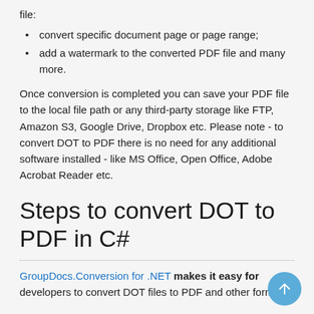file:
convert specific document page or page range;
add a watermark to the converted PDF file and many more.
Once conversion is completed you can save your PDF file to the local file path or any third-party storage like FTP, Amazon S3, Google Drive, Dropbox etc. Please note - to convert DOT to PDF there is no need for any additional software installed - like MS Office, Open Office, Adobe Acrobat Reader etc.
Steps to convert DOT to PDF in C#
GroupDocs.Conversion for .NET makes it easy for developers to convert DOT files to PDF and other formats